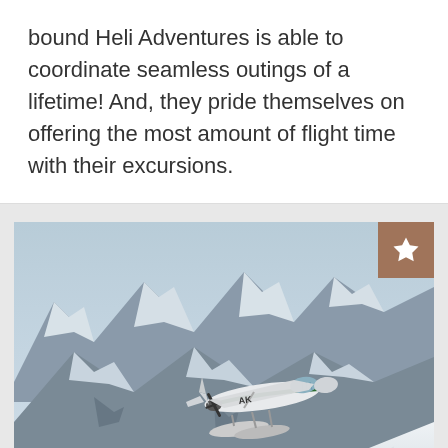bound Heli Adventures is able to coordinate seamless outings of a lifetime! And, they pride themselves on offering the most amount of flight time with their excursions.
[Figure (photo): A floatplane (seaplane with pontoons, marked with 'AK' or similar Alaska branding) flying low over snow-covered mountain peaks and glaciers under a hazy sky.]